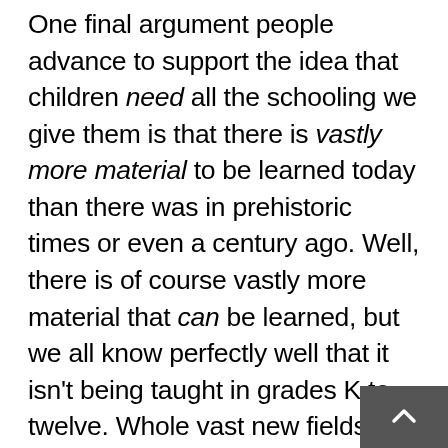One final argument people advance to support the idea that children need all the schooling we give them is that there is vastly more material to be learned today than there was in prehistoric times or even a century ago. Well, there is of course vastly more material that can be learned, but we all know perfectly well that it isn't being taught in grades K to twelve. Whole vast new fields of knowledge exist today–things no one even heard of a century ago: astrophysics, biochemistry, paleobiology, aeronautics, particle physics, ethology, cytopathology, neurophysiology–I could list them for hours. But are these the things that we have jammed into the K-12 curriculum because everyone needs to know them? Certainly not. The idea is absurd. The idea that children need to be schooled for a long